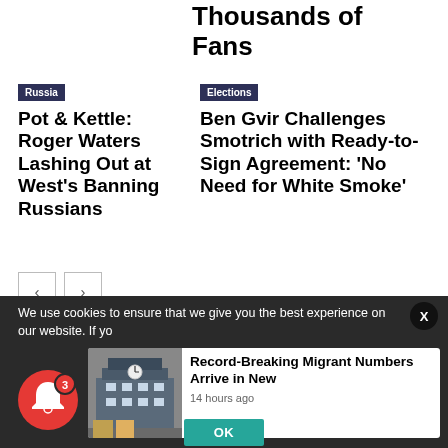Thousands of Fans
Russia
Pot & Kettle: Roger Waters Lashing Out at West's Banning Russians
Elections
Ben Gvir Challenges Smotrich with Ready-to-Sign Agreement: 'No Need for White Smoke'
We use cookies to ensure that we give you the best experience on our website. If yo
[Figure (photo): Building exterior photo thumbnail for news article]
Record-Breaking Migrant Numbers Arrive in New
14 hours ago
OK